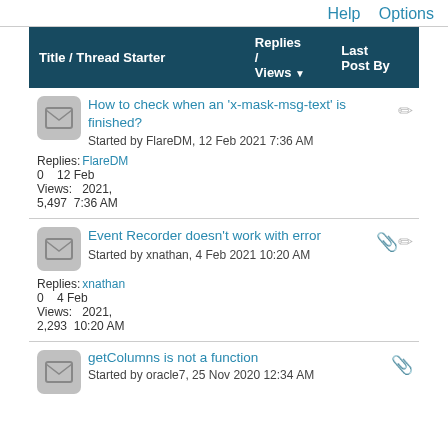Help   Options
| Title / Thread Starter | Replies / Views | Last Post By |
| --- | --- | --- |
| How to check when an 'x-mask-msg-text' is finished?
Started by FlareDM, 12 Feb 2021 7:36 AM | Replies: 0
Views: 5,497 | FlareDM
12 Feb
2021,
7:36 AM |
| Event Recorder doesn't work with error
Started by xnathan, 4 Feb 2021 10:20 AM | Replies: 0
Views: 2,293 | xnathan
4 Feb
2021,
10:20 AM |
| getColumns is not a function
Started by oracle7, 25 Nov 2020 12:34 AM |  |  |